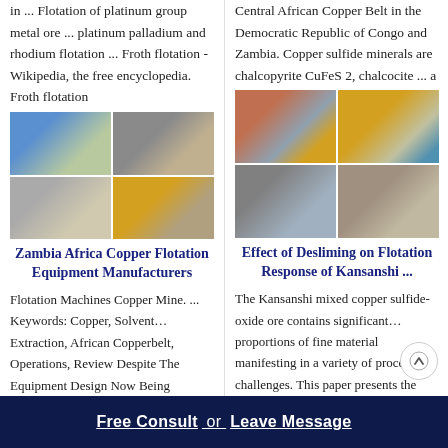in ... Flotation of platinum group metal ore ... platinum palladium and rhodium flotation ... Froth flotation - Wikipedia, the free encyclopedia. Froth flotation
[Figure (photo): Four mining/quarry equipment images in a 2x2 grid: excavator and crushers]
Zambia Africa Copper Flotation Equipment Manufacturers
Flotation Machines Copper Mine. ... Keywords: Copper, Solvent… Extraction, African Copperbelt, Operations, Review Despite The Equipment Design Now Being
Central African Copper Belt in the Democratic Republic of Congo and Zambia. Copper sulfide minerals are chalcopyrite CuFeS 2, chalcocite ... a
[Figure (photo): Four industrial mineral processing plant images in a 2x2 grid]
Effect of Desliming on Flotation Response of Kansanshi ...
The Kansanshi mixed copper sulfide-oxide ore contains significant… proportions of fine material manifesting in a variety of processing challenges. This paper presents the
Free Consult  or  Leave Message